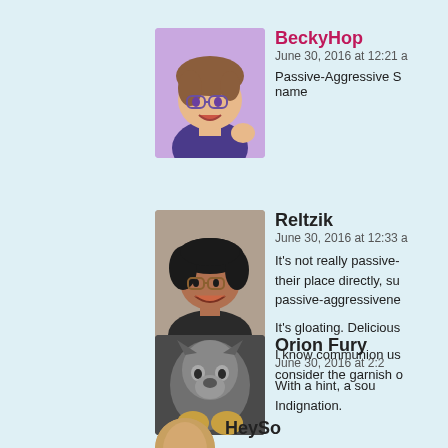[Figure (illustration): Avatar of BeckyHop - cartoon girl with glasses and curly hair on purple background]
BeckyHop
June 30, 2016 at 12:21 a
Passive-Aggressive S name
[Figure (illustration): Avatar of Reltzik - cartoon person with dark curly hair and glasses]
Reltzik
June 30, 2016 at 12:33 a
It's not really passive- their place directly, su passive-aggressivene
It's gloating. Delicious
I know communion us consider the garnish o
[Figure (illustration): Avatar of Orion Fury - photo of wolf or animal figure]
Orion Fury
June 30, 2016 at 2:2
With a hint, a sou Indignation.
[Figure (illustration): Avatar of HeySo - partial circular avatar visible at bottom]
HeySo